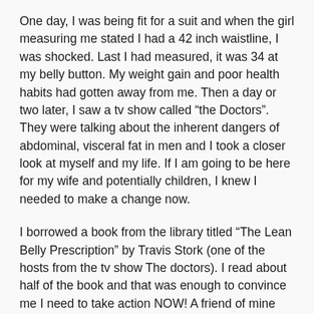One day, I was being fit for a suit and when the girl measuring me stated I had a 42 inch waistline, I was shocked. Last I had measured, it was 34 at my belly button. My weight gain and poor health habits had gotten away from me. Then a day or two later, I saw a tv show called “the Doctors”. They were talking about the inherent dangers of abdominal, visceral fat in men and I took a closer look at myself and my life. If I am going to be here for my wife and potentially children, I knew I needed to make a change now.
I borrowed a book from the library titled “The Lean Belly Prescription” by Travis Stork (one of the hosts from the tv show The doctors). I read about half of the book and that was enough to convince me I need to take action NOW! A friend of mine told me he had just bought P90X, so I looked into that and found